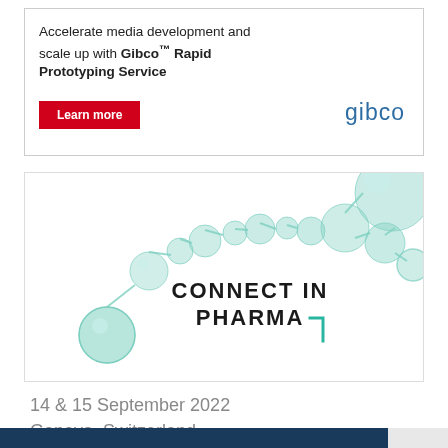[Figure (infographic): Gibco advertisement banner: text 'Accelerate media development and scale up with Gibco™ Rapid Prototyping Service', a red 'Learn more' button, and the Gibco logo in blue on the right.]
[Figure (infographic): Connect in Pharma conference advertisement with 3D green molecular structure illustration and the text 'CONNECT IN PHARMA' with a teal corner bracket logo.]
14 & 15 September 2022
Geneva, Switzerland